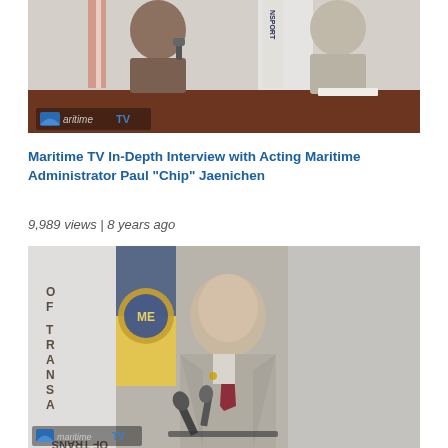[Figure (photo): Maritime TV interview scene: two men seated at a brown table with a Department of Transportation flag in background. Maritime TV logo visible in lower left corner.]
Maritime TV In-Depth Interview with Acting Maritime Administrator Paul “Chip” Jaenichen
9,989 views | 8 years ago
[Figure (photo): Man in gray suit speaking at microphones with Department of Transportation flag reading 'OF TRANSPORTATION' on the left and a gold/blue government seal flag in background. Maritime TV logo visible at bottom.]